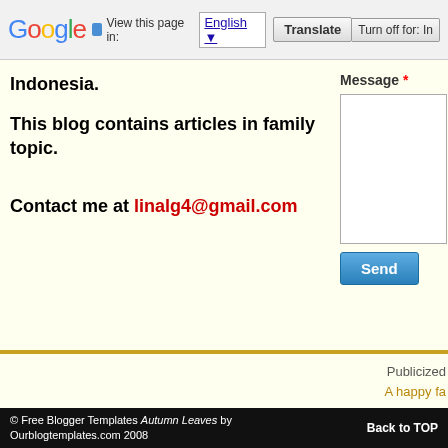Google  View this page in: English  Translate  Turn off for: In
Indonesia.
This blog contains articles in family topic.
Contact me at linalg4@gmail.com
Message *
Send
Publicized
A happy fa
[Figure (logo): A Happy Family blog logo with decorative red serif text and dark red heart circle icon, subtitle reads 'Various articles on family topic']
© Free Blogger Templates Autumn Leaves by Ourblogtemplates.com 2008    Back to TOP